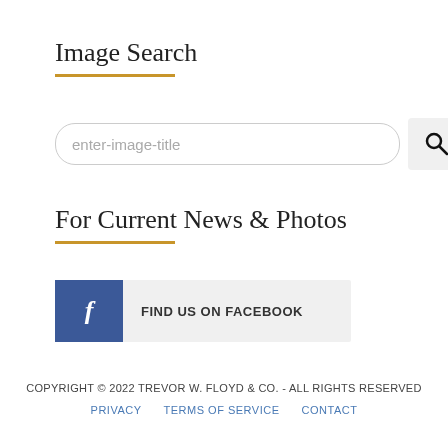Image Search
[Figure (other): Search input field with placeholder text 'enter-image-title' and a search button with magnifying glass icon]
For Current News & Photos
[Figure (other): Facebook button with blue Facebook icon and text 'FIND US ON FACEBOOK']
COPYRIGHT © 2022 TREVOR W. FLOYD & CO. - ALL RIGHTS RESERVED
PRIVACY   TERMS OF SERVICE   CONTACT